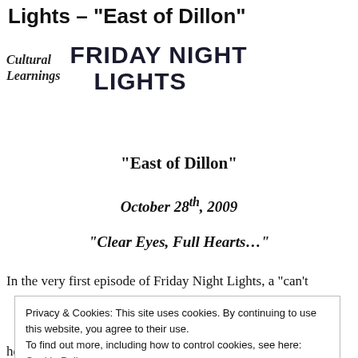Lights – "East of Dillon"
[Figure (logo): Cultural Learnings logo (italic script) next to Friday Night Lights bold block-text logo]
"East of Dillon"
October 28th, 2009
"Clear Eyes, Full Hearts…"
In the very first episode of Friday Night Lights, a "can't
Privacy & Cookies: This site uses cookies. By continuing to use this website, you agree to their use.
To find out more, including how to control cookies, see here: Cookie Policy
helm. The arc of the show's first season was watching